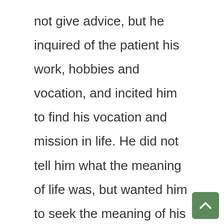not give advice, but he inquired of the patient his work, hobbies and vocation, and incited him to find his vocation and mission in life. He did not tell him what the meaning of life was, but wanted him to seek the meaning of his life within himself. And he made his point that the goal was to have an essential relationship with people and things.

Modern communication techniques state that spoken words only have an effect o